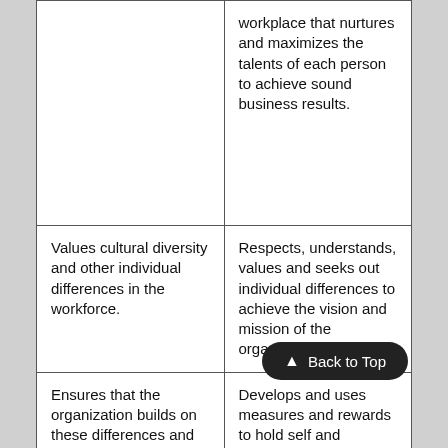|  | workplace that nurtures and maximizes the talents of each person to achieve sound business results. |
| Values cultural diversity and other individual differences in the workforce. | Respects, understands, values and seeks out individual differences to achieve the vision and mission of the organization. |
| Ensures that the organization builds on these differences and | Develops and uses measures and rewards to hold self and |